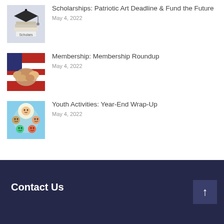Scholarships: Patriotic Art Deadline & Fund the Future — May 4, 2022
Membership: Membership Roundup — May 4, 2022
Youth Activities: Year-End Wrap-Up — May 4, 2022
Contact Us
[Figure (illustration): Graduation cap on books with 'Scholars' text — scholarship theme thumbnail]
[Figure (photo): Hands joined together over American flag pattern — membership theme thumbnail]
[Figure (photo): Group of children looking up in a circle — youth activities theme thumbnail]